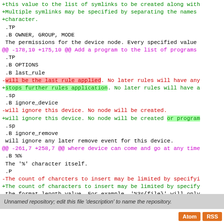+this value to the list of symlinks to be created along with
+Multiple symlinks may be specified by separating the names
+character.
 .TP
 .B OWNER, GROUP, MODE
 The permissions for the device node. Every specified value
@@ -178,10 +175,10 @@ Add a program to the list of programs
 .TP
 .B OPTIONS
 .B last_rule
-will be the last rule applied. No later rules will have any
+stops further rules application. No later rules will have a
 .sp
 .B ignore_device
-will ignore this device. No node will be created.
+will ignore this device. No node will be created or program
 .sp
 .B ignore_remove
 will ignore any later remove event for this device.
@@ -261,7 +258,7 @@ where device can come and go at any time
 .B %%
 The '%' character itself.
 .P
-The count of charcters to insert may be limited by specifyi
+The count of characters to insert may be limited by specify
 the format length value. For example, '%3s{file}' will only
 the first three characters of the sysfs attribute.
 .P
Unnamed repository; edit this file 'description' to name the repository.